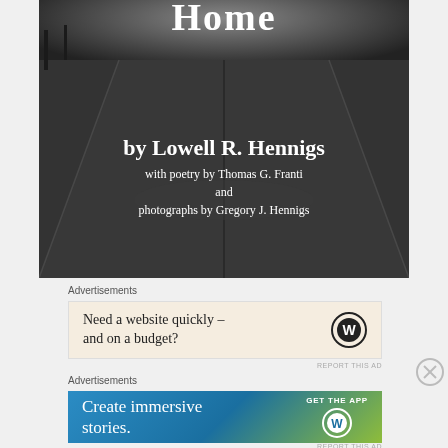[Figure (photo): Black and white photograph of a residential street/road viewed from above, with the title 'Home' at the top, author credit 'by Lowell R. Hennigs', poetry credit 'with poetry by Thomas G. Franti and photographs by Gregory J. Hennigs' overlaid on the image]
Advertisements
[Figure (screenshot): Advertisement: 'Need a website quickly – and on a budget?' with WordPress logo]
Advertisements
[Figure (screenshot): Advertisement with blue-to-green gradient: 'Create immersive stories.' with GET THE APP and WordPress logo]